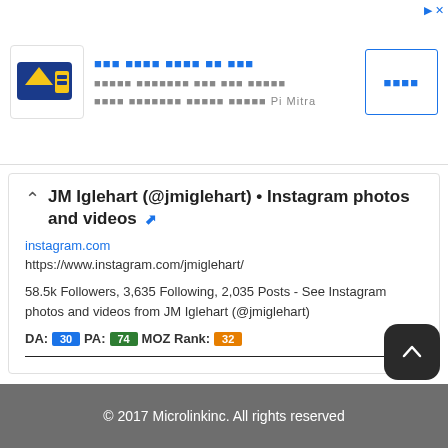[Figure (advertisement): Advertisement banner with Pi Mitra logo, Indonesian text, and a button]
JM Iglehart (@jmiglehart) • Instagram photos and videos
instagram.com
https://www.instagram.com/jmiglehart/
58.5k Followers, 3,635 Following, 2,035 Posts - See Instagram photos and videos from JM Iglehart (@jmiglehart)
DA: 30 PA: 74 MOZ Rank: 32
© 2017 Microlinkinc. All rights reserved